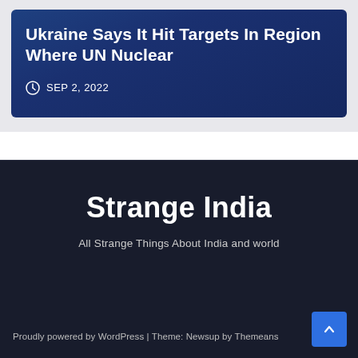Ukraine Says It Hit Targets In Region Where UN Nuclear
SEP 2, 2022
Strange India
All Strange Things About India and world
Proudly powered by WordPress | Theme: Newsup by Themeans